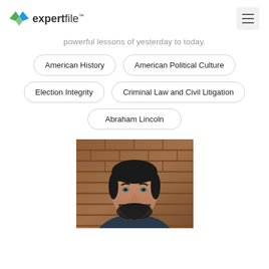expertfile
powerful lessons of yesterday to today.
American History
American Political Culture
Election Integrity
Criminal Law and Civil Litigation
Abraham Lincoln
[Figure (photo): Headshot of a man with dark hair and beard in front of a brick wall background]